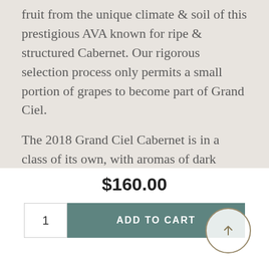fruit from the unique climate & soil of this prestigious AVA known for ripe & structured Cabernet. Our rigorous selection process only permits a small portion of grapes to become part of Grand Ciel.
The 2018 Grand Ciel Cabernet is in a class of its own, with aromas of dark chocolate, Bing cherry, fresh ground coffee and black currants all exploding from the glass.  Seductive and dense, this wine has seamless balance and polished tannins that allow it to be enjoyable in its youth.  The background of toasty oak harmonizes beautifully with rich dark fruits leading to a finish that will only get
$160.00
1
ADD TO CART